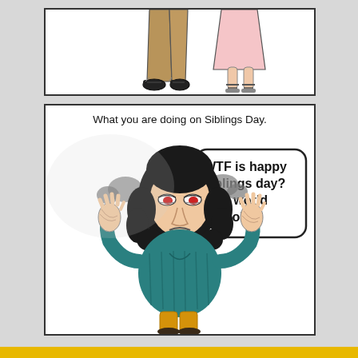[Figure (illustration): Top comic panel showing two pairs of legs/feet of characters standing, partially cropped. Left figure has khaki/tan pants and black shoes, right figure has a skirt and sandals.]
[Figure (illustration): Bottom comic panel showing a frustrated woman with curly dark hair, wearing a teal shirt and yellow pants, with steam/smoke coming from both ears. She has red/tired eyes and her hands raised in exasperation. A speech bubble reads 'WTF is happy siblings day? This world is a joke.' Caption at top reads 'What you are doing on Siblings Day.']